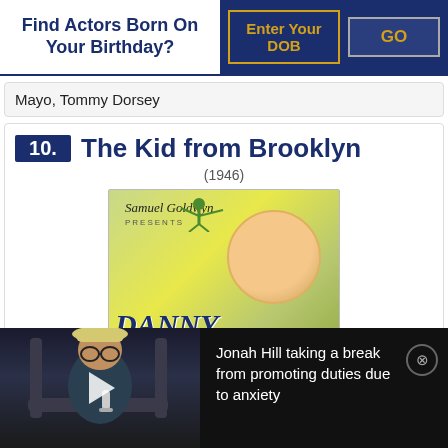Find Actors Born On Your Birthday?
Mayo, Tommy Dorsey
10. The Kid from Brooklyn (1946)
[Figure (photo): Movie poster for 'The Kid from Brooklyn' (1946) featuring Danny Kaye, Samuel Goldwyn Presents, in Technicolor]
[Figure (screenshot): Video thumbnail of Jonah Hill with overlay text: 'Jonah Hill taking a break from promoting duties due to anxiety']
Jonah Hill taking a break from promoting duties due to anxiety